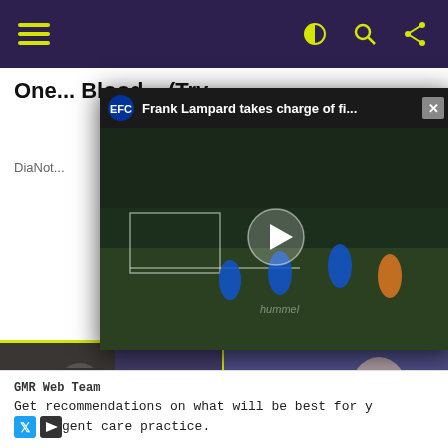Navigation bar with hamburger menu, dark mode, search, and share icons
One... Blood... (Try...
DiaNot...
[Figure (screenshot): Video overlay showing Frank Lampard taking charge of first Everton training session, with play button in center. Title reads: Frank Lampard takes charge of fi...]
[Figure (photo): Photo of a man from behind wearing dark jacket]
Phil Mickelson Confirms The Rumors
[Figure (photo): Photo of a man in blue suit]
Dr Phil Drops Bombshell
[Figure (photo): Large photo of a person]
GMR Web Team
Get recommendations on what will be best for y... gent care practice.